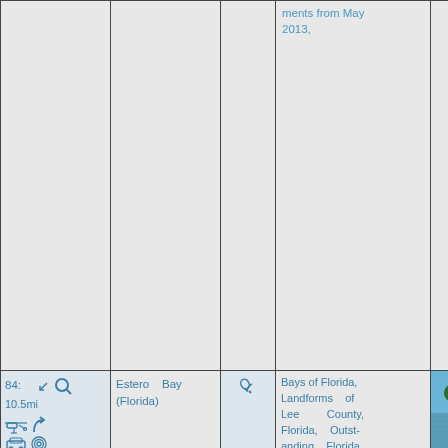ments from May 2013,
|  | Name | Link | Categories | Image |
| --- | --- | --- | --- | --- |
| 84: 10.5mi [icons] | Estero Bay (Florida) | [link icon] | Bays of Florida, Landforms of Lee County, Florida, Outstanding Florida Waters, Southwest Florida geography stubs, Hidden categories: | [photo] |
[Figure (photo): Photo of Estero Bay, Florida showing water with red boat and green mangrove trees against blue sky]